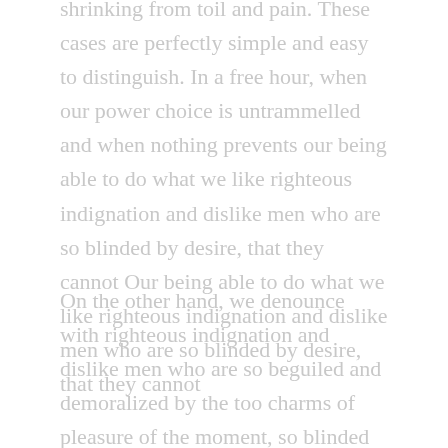shrinking from toil and pain. These cases are perfectly simple and easy to distinguish. In a free hour, when our power choice is untrammelled and when nothing prevents our being able to do what we like righteous indignation and dislike men who are so blinded by desire, that they cannot Our being able to do what we like righteous indignation and dislike men who are so blinded by desire, that they cannot
On the other hand, we denounce with righteous indignation and dislike men who are so beguiled and demoralized by the too charms of pleasure of the moment, so blinded by desire, that they cannot foresee